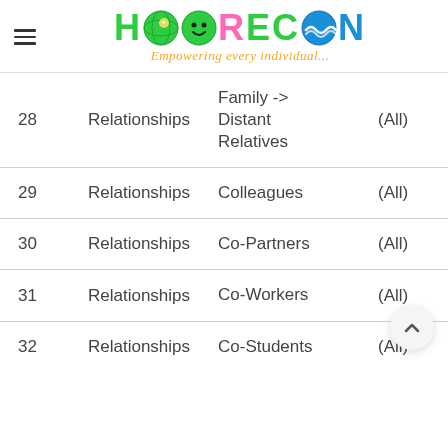HOORECON - Empowering every individual...
| # | Category | Subcategory | Visibility |
| --- | --- | --- | --- |
| 28 | Relationships | Family -> Distant Relatives | (All) |
| 29 | Relationships | Colleagues | (All) |
| 30 | Relationships | Co-Partners | (All) |
| 31 | Relationships | Co-Workers | (All) |
| 32 | Relationships | Co-Students | (All) |